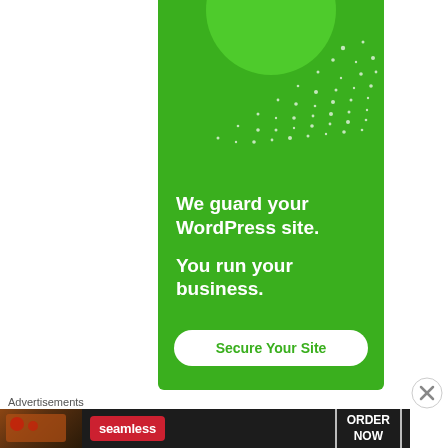[Figure (infographic): Green advertisement banner for WordPress security service with sparkle dots, headline text 'We guard your WordPress site. You run your business.' and a 'Secure Your Site' call-to-action button on white rounded rectangle.]
Advertisements
[Figure (infographic): Seamless food delivery banner ad with pizza image on left, red Seamless logo badge, and 'ORDER NOW' button with white border on dark background.]